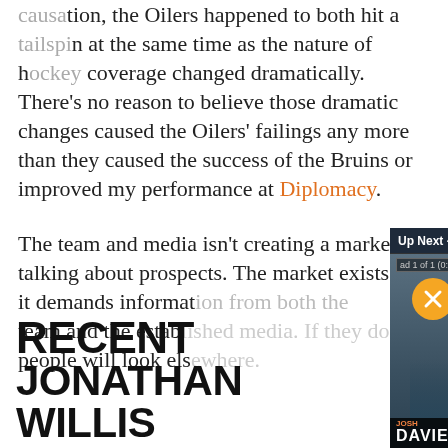causation, the Oilers happened to both hit a tailspin at the same time as the nature of hockey coverage changed dramatically. There's no reason to believe those dramatic changes caused the Oilers' failings any more than they caused the success of the Bruins or improved my performance at Diplomacy.
The team and media isn't creating a market by talking about prospects. The market exists and it demands informat... team and the estab... people will look els...
[Figure (screenshot): Video player overlay showing 'Up Next - 2022 NHL Draft 1-on-1 – Josh ...' with two split-screen video frames. Left frame shows Josh Davies, right frame shows Chris Wahl. WHL Draft branding visible. Ad 1 of 1 (0:06) label shown. Mute button visible.]
RECENT JONATHAN WILLIS